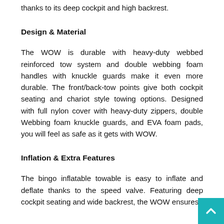thanks to its deep cockpit and high backrest.
Design & Material
The WOW is durable with heavy-duty webbed reinforced tow system and double webbing foam handles with knuckle guards make it even more durable. The front/back-tow points give both cockpit seating and chariot style towing options. Designed with full nylon cover with heavy-duty zippers, double Webbing foam knuckle guards, and EVA foam pads, you will feel as safe as it gets with WOW.
Inflation & Extra Features
The bingo inflatable towable is easy to inflate and deflate thanks to the speed valve. Featuring deep cockpit seating and wide backrest, the WOW ensures